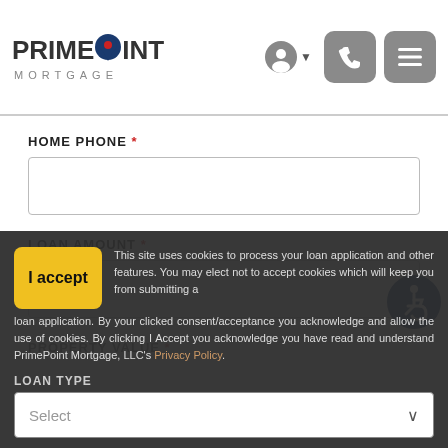PrimePOINT MORTGAGE
HOME PHONE *
HOME PHONE input field
LOAN AMOUNT *
Select (dropdown)
PROPERTY VALUE *
I accept
This site uses cookies to process your loan application and other features. You may elect not to accept cookies which will keep you from submitting a loan application. By your clicked consent/acceptance you acknowledge and allow the use of cookies. By clicking I Accept you acknowledge you have read and understand PrimePoint Mortgage, LLC's Privacy Policy.
LOAN TYPE
Select (dropdown)